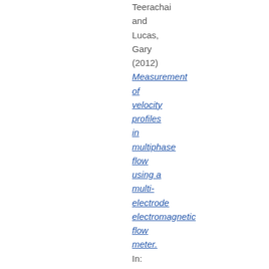Teerachai and Lucas, Gary (2012) Measurement of velocity profiles in multiphase flow using a multi-electrode electromagnetic flow meter. In: Proceedings of The